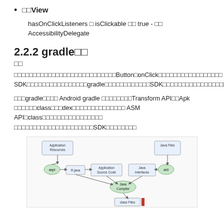□□View
hasOnClickListeners □ isClickable □□ true - □□ AccessibilityDelegate
2.2.2 gradle□□
□□
□□□□□□□□□□□□□□□□□□□□□□□□□□□Button□onClick□□□□□□□□□□□□□□□□□ SDK□□□□□□□□□□□□□□□□gradle□□□□□□□□□□□□SDK□□□□□□□□□□□□□□□□□
□□□gradle□□□□ Android gradle □□□□□□□□Transform API□□Apk □□□□□□class□□□dex□□□□□□□□□□□□□□ ASM API□class□□□□□□□□□□□□□□□□ □□□□□□□□□□□□□□□□□□□□□SDK□□□□□□□□
[Figure (flowchart): Android build process flowchart showing Application Resources, aapt, R.java, Application Source Code, Java Interfaces, aidl, aid, Java Compiler, class Files nodes with arrows connecting them]